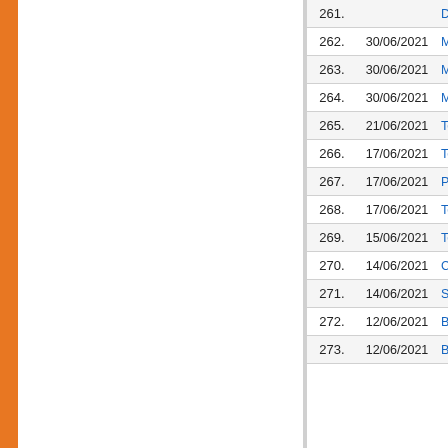| No. | Date | Title |
| --- | --- | --- |
| 261. |  | December… |
| 262. | 30/06/2021 | M.Sc. (Ind… on 13.07.2… |
| 263. | 30/06/2021 | M.E. (Food… on 12.07.2… |
| 264. | 30/06/2021 | M.E. (Che… 12.07.2021… |
| 265. | 21/06/2021 | Tentative R… Session De… |
| 266. | 17/06/2021 | Tentative R… December… |
| 267. | 17/06/2021 | Practical D… |
| 268. | 17/06/2021 | Tentative B… |
| 269. | 15/06/2021 | Tentative R… December… |
| 270. | 14/06/2021 | Correction… 10th Seme… |
| 271. | 14/06/2021 | SOP of En… |
| 272. | 12/06/2021 | BE Chemic… |
| 273. | 12/06/2021 | BE Chemic… |